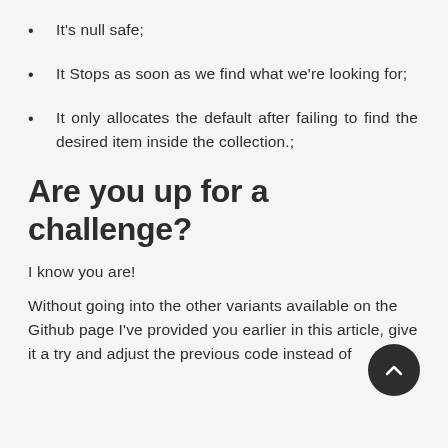It's null safe;
It Stops as soon as we find what we're looking for;
It only allocates the default after failing to find the desired item inside the collection.;
Are you up for a challenge?
I know you are!
Without going into the other variants available on the Github page I've provided you earlier in this article, give it a try and adjust the previous code instead of